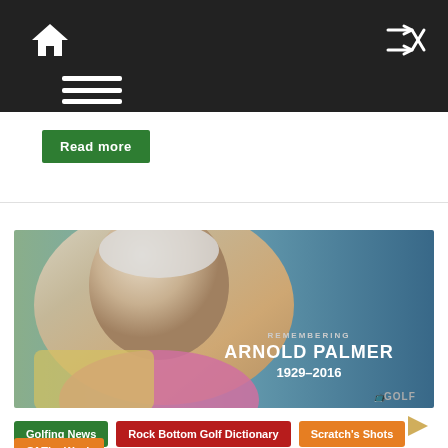Navigation bar with home icon, menu icon, and shuffle icon
Read more
[Figure (photo): Memorial photo of Arnold Palmer smiling, with text overlay: REMEMBERING ARNOLD PALMER 1929-2016, NBC Golf logo]
Golfing News | Rock Bottom Golf Dictionary | Scratch's Shots Of The Week